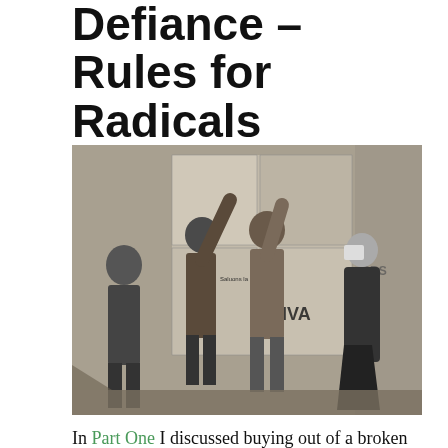Defiance – Rules for Radicals
[Figure (photo): Black and white photograph of several people posting or looking at posters on a weathered wall. A sign reads 'Saluons la Resistance' and another reads 'IVA'. An older woman in a dark skirt and white headscarf watches from the right.]
In Part One I discussed buying out of a broken social contract and decoupling from systems that